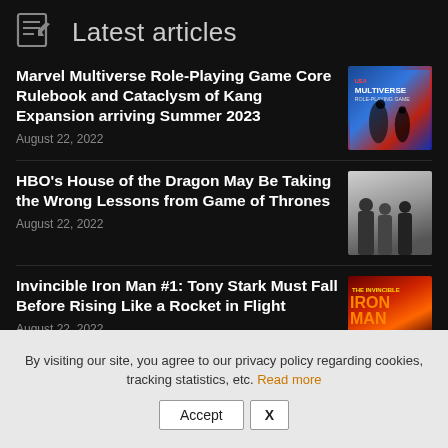Latest articles
Marvel Multiverse Role-Playing Game Core Rulebook and Cataclysm of Kang Expansion arriving Summer 2023
August 22, 2022
[Figure (photo): Marvel Multiverse Role-Playing Game book cover with colorful superhero artwork and text 'MULTIVERSE ROLE-PLAYING GAME']
HBO's House of the Dragon May Be Taking the Wrong Lessons from Game of Thrones
August 22, 2022
[Figure (photo): Dark photo of people standing, likely characters from House of the Dragon]
Invincible Iron Man #1: Tony Stark Must Fall Before Rising Like a Rocket in Flight
August 22, 2022
[Figure (photo): The Invincible Iron Man comic book cover with orange and red Iron Man armor]
By visiting our site, you agree to our privacy policy regarding cookies, tracking statistics, etc. Read more
Accept  X